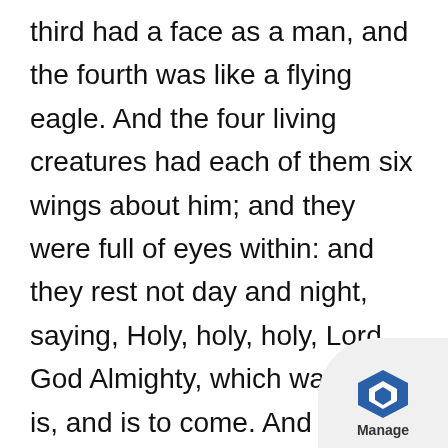third had a face as a man, and the fourth was like a flying eagle. And the four living creatures had each of them six wings about him; and they were full of eyes within: and they rest not day and night, saying, Holy, holy, holy, Lord God Almighty, which was, and is, and is to come. And when those living creatures give glory and honour and thanks to him that sat on the throne, who liveth for ever and ever, the four and twenty elders fall down before him that sat on the throne, and worship him that liveth for ever and ever, and cast their crowns before the throne,
[Figure (logo): Manage app logo — blue hexagon icon with 'Manage' label below, on a grey curved corner overlay]